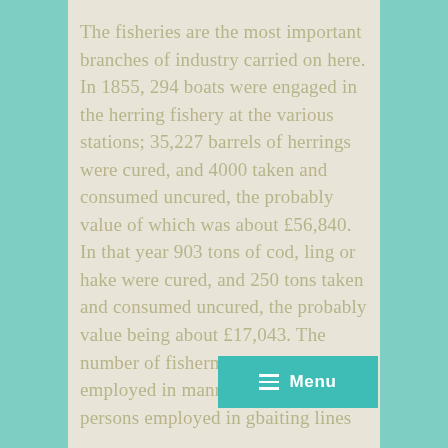The fisheries are the most important branches of industry carried on here. In 1855, 294 boats were engaged in the herring fishery at the various stations; 35,227 barrels of herrings were cured, and 4000 taken and consumed uncured, the probably value of which was about £56,840. In that year 903 tons of cod, ling or hake were cured, and 250 tons taken and consumed uncured, the probably value being about £17,043. The number of fishermen and boys employed in manning th... 982; persons employed in g... baiting lines